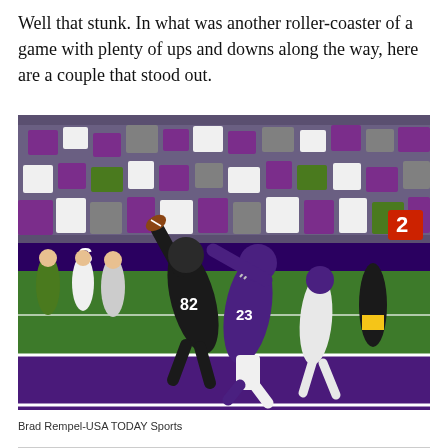Well that stunk. In what was another roller-coaster of a game with plenty of ups and downs along the way, here are a couple that stood out.
[Figure (photo): NFL football game action photo showing a Saints player (#82) catching or battling for a ball against a Vikings defender (#23) in the end zone. Crowd in purple and white in the background. Indoor stadium, purple end zone visible.]
Brad Rempel-USA TODAY Sports